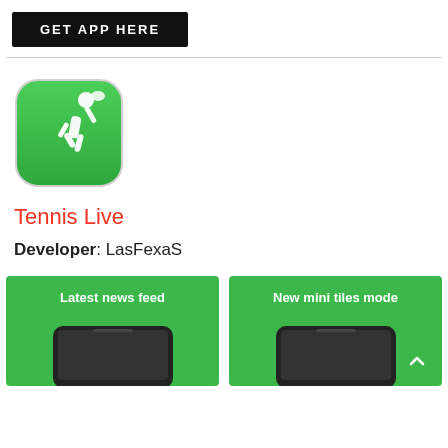[Figure (screenshot): Black button with white text GET APP HERE]
[Figure (logo): Tennis app icon: green rounded square with white tennis player silhouette]
Tennis Live
Developer: LasFexaS
[Figure (screenshot): Two app screenshots on green backgrounds: Latest news feed and New mini tiles mode, each showing a phone mockup]
[Figure (other): Scroll-up arrow button in bottom right corner]